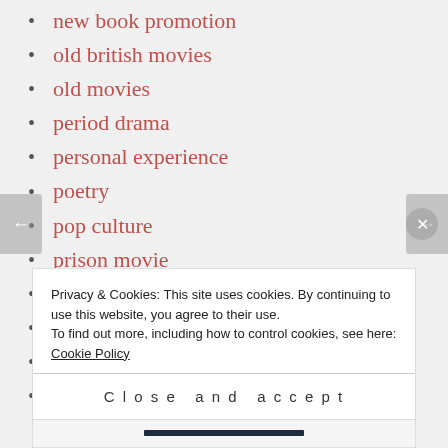new book promotion
old british movies
old movies
period drama
personal experience
poetry
pop culture
prison movie
promotion
psychological drama
psychological horror films
psychological thriller
Privacy & Cookies: This site uses cookies. By continuing to use this website, you agree to their use. To find out more, including how to control cookies, see here: Cookie Policy
Close and accept